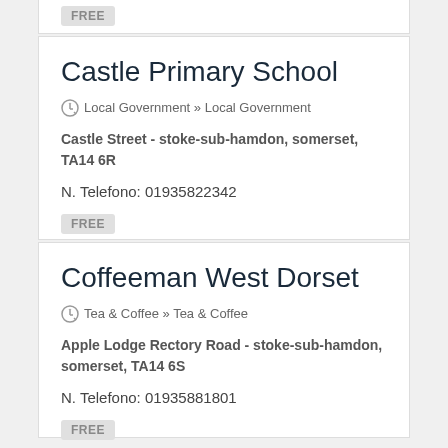FREE
Castle Primary School
Local Government » Local Government
Castle Street - stoke-sub-hamdon, somerset, TA14 6R
N. Telefono: 01935822342
FREE
Coffeeman West Dorset
Tea & Coffee » Tea & Coffee
Apple Lodge Rectory Road - stoke-sub-hamdon, somerset, TA14 6S
N. Telefono: 01935881801
FREE